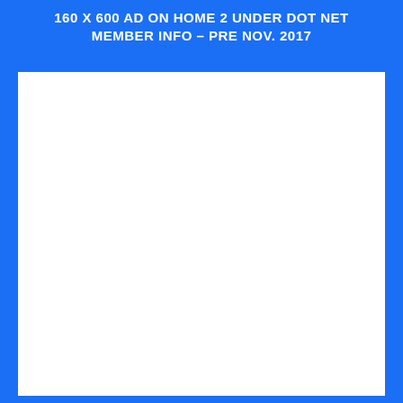160 X 600 AD ON HOME 2 UNDER DOT NET MEMBER INFO – PRE NOV. 2017
[Figure (other): Large empty white rectangular ad placeholder box with blue border]